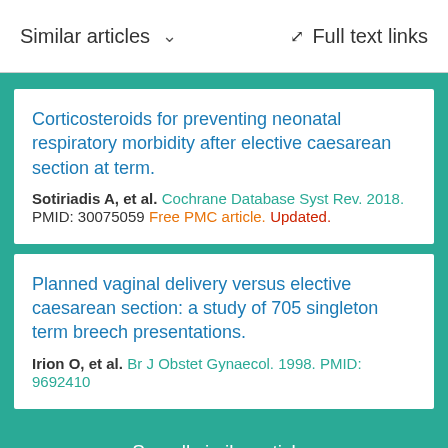Similar articles  ∨   Full text links
Corticosteroids for preventing neonatal respiratory morbidity after elective caesarean section at term.
Sotiriadis A, et al. Cochrane Database Syst Rev. 2018. PMID: 30075059 Free PMC article. Updated.
Planned vaginal delivery versus elective caesarean section: a study of 705 singleton term breech presentations.
Irion O, et al. Br J Obstet Gynaecol. 1998. PMID: 9692410
See all similar articles